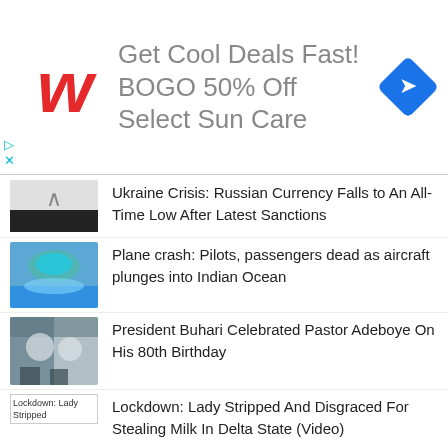[Figure (infographic): Walgreens advertisement banner: red Walgreens logo W, text 'Get Cool Deals Fast! BOGO 50% Off Select Sun Care', blue diamond navigation icon on right]
Ukraine Crisis: Russian Currency Falls to An All-Time Low After Latest Sanctions
Plane crash: Pilots, passengers dead as aircraft plunges into Indian Ocean
President Buhari Celebrated Pastor Adeboye On His 80th Birthday
Lockdown: Lady Stripped And Disgraced For Stealing Milk In Delta State (Video)